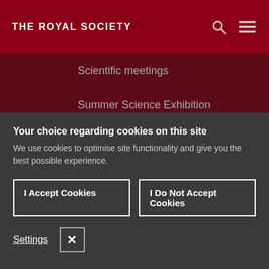THE ROYAL SOCIETY
Scientific meetings
Summer Science Exhibition
GRANTS
Your choice regarding cookies on this site
We use cookies to optimise site functionality and give you the best possible experience.
I Accept Cookies
I Do Not Accept Cookies
Settings